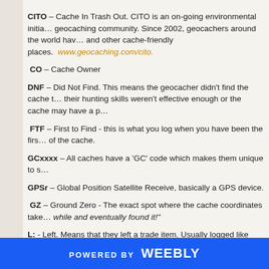CITO – Cache In Trash Out. CITO is an on-going environmental initiative from the geocaching community. Since 2002, geocachers around the world have been cleaning up parks and other cache-friendly places. www.geocaching.com/cito.
CO – Cache Owner
DNF – Did Not Find. This means the geocacher didn't find the cache but either their hunting skills weren't effective enough or the cache may have a problem.
FTF – First to Find - this is what you log when you have been the first to find of the cache.
GCxxxx – All caches have a 'GC' code which makes them unique to site.
GPSr – Global Position Satellite Receive, basically a GPS device.
GZ – Ground Zero - The exact spot where the cache coordinates take you. while and eventually found it!
L: - Left. Means that they left a trade item. Usually logged like this: L:
POWERED BY weebly